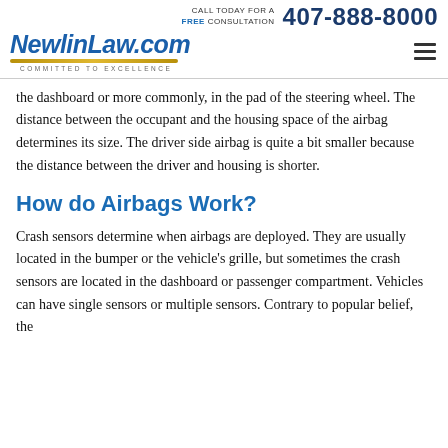CALL TODAY FOR A FREE CONSULTATION 407-888-8000 | NewlinLaw.com COMMITTED TO EXCELLENCE
the dashboard or more commonly, in the pad of the steering wheel. The distance between the occupant and the housing space of the airbag determines its size. The driver side airbag is quite a bit smaller because the distance between the driver and housing is shorter.
How do Airbags Work?
Crash sensors determine when airbags are deployed. They are usually located in the bumper or the vehicle's grille, but sometimes the crash sensors are located in the dashboard or passenger compartment. Vehicles can have single sensors or multiple sensors. Contrary to popular belief, the